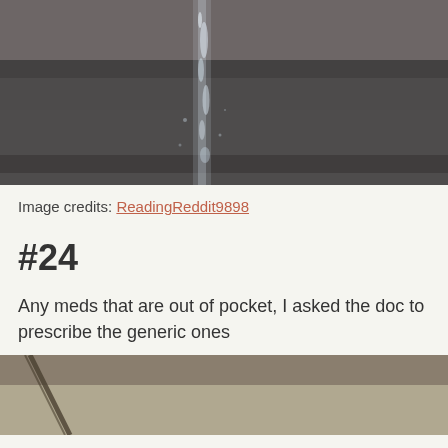[Figure (photo): Close-up photo of water streaming down, dark blurred background, water droplets visible]
Image credits: ReadingReddit9898
#24
Any meds that are out of pocket, I asked the doc to prescribe the generic ones
[Figure (photo): Bottom portion of another photo, warm beige/tan tones, partial diagonal dark element visible]